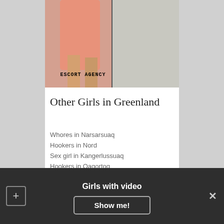[Figure (photo): A woman in a peach/salmon colored outfit, cropped from waist to legs, with 'ESCORT AGENCY' text watermark overlaid on the image.]
Other Girls in Greenland
Whores in Narsarsuaq
Hookers in Nord
Sex girl in Kangerlussuaq
Hookers in Qaqortoq
Escort trans amiens
Sex for money in Somerset West
Brothels in Rosario
Brothels in Dong Hoi
Girls with video
Show me!